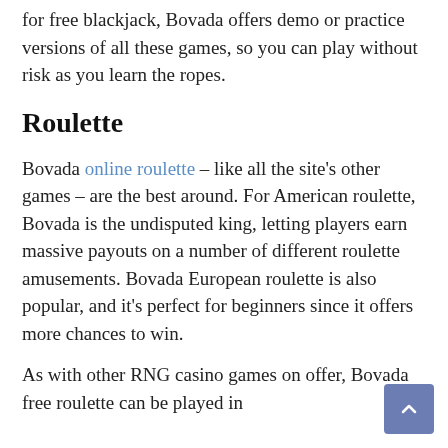for free blackjack, Bovada offers demo or practice versions of all these games, so you can play without risk as you learn the ropes.
Roulette
Bovada online roulette – like all the site's other games – are the best around. For American roulette, Bovada is the undisputed king, letting players earn massive payouts on a number of different roulette amusements. Bovada European roulette is also popular, and it's perfect for beginners since it offers more chances to win.
As with other RNG casino games on offer, Bovada free roulette can be played in